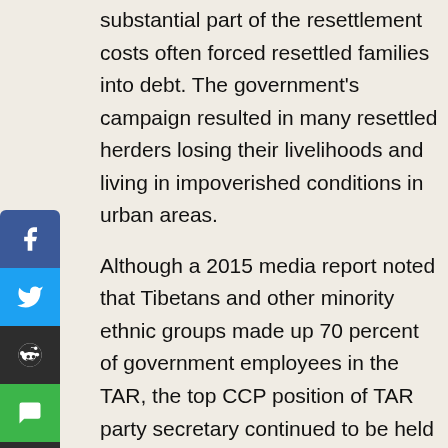substantial part of the resettlement costs often forced resettled families into debt. The government's campaign resulted in many resettled herders losing their livelihoods and living in impoverished conditions in urban areas.
Although a 2015 media report noted that Tibetans and other minority ethnic groups made up 70 percent of government employees in the TAR, the top CCP position of TAR party secretary continued to be held by an ethnic Chinese, and the corresponding positions in the vast majority of all TAR counties were also held by ethnic Chinese. Within the TAR, ethnic Chinese also continued to hold a disproportionate number of the top security, military, financial, economic,